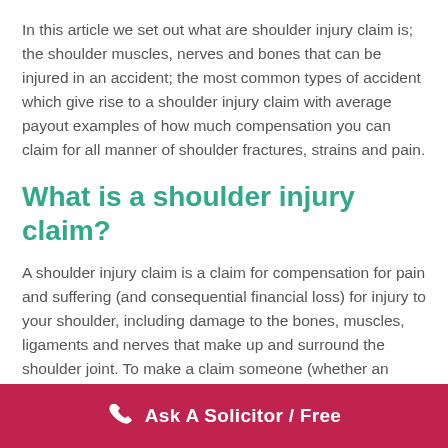In this article we set out what are shoulder injury claim is; the shoulder muscles, nerves and bones that can be injured in an accident; the most common types of accident which give rise to a shoulder injury claim with average payout examples of how much compensation you can claim for all manner of shoulder fractures, strains and pain.
What is a shoulder injury claim?
A shoulder injury claim is a claim for compensation for pain and suffering (and consequential financial loss) for injury to your shoulder, including damage to the bones, muscles, ligaments and nerves that make up and surround the shoulder joint. To make a claim someone (whether an individual, a business or other body) must be considered
Ask A Solicitor / Free